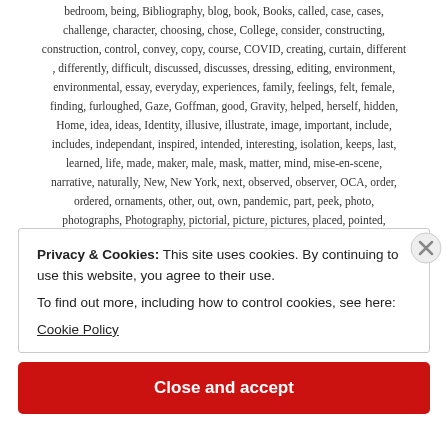bedroom, being, Bibliography, blog, book, Books, called, case, cases, challenge, character, choosing, chose, College, consider, constructing, construction, control, convey, copy, course, COVID, creating, curtain, different, differently, difficult, discussed, discusses, dressing, editing, environment, environmental, essay, everyday, experiences, family, feelings, felt, female, finding, furloughed, Gaze, Goffman, good, Gravity, helped, herself, hidden, Home, idea, ideas, Identity, illusive, illustrate, image, important, include, includes, independant, inspired, intended, interesting, isolation, keeps, last, learned, life, made, maker, male, mask, matter, mind, mise-en-scene, narrative, naturally, New, New York, next, observed, observer, OCA, order, ordered, ornaments, other, out, own, pandemic, part, peek, photo, photographs, Photography, pictorial, picture, pictures, placed, pointed, Portraits, present, Presentation, Punctum, Quantum, question, ranter, read,
Privacy & Cookies: This site uses cookies. By continuing to use this website, you agree to their use.
To find out more, including how to control cookies, see here:
Cookie Policy
Close and accept